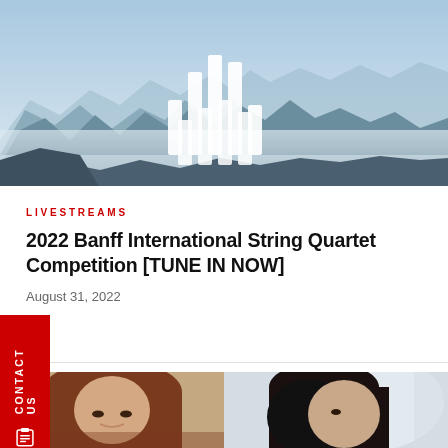[Figure (photo): Mountain landscape with misty valleys and a white stylized audio/equalizer bar chart logo overlaid in the center. Blue sky with snow-capped mountains in the background.]
LIVESTREAMS
2022 Banff International String Quartet Competition [TUNE IN NOW]
August 31, 2022
[Figure (photo): Two side-by-side portrait photographs of women. Left: a woman with reddish-brown hair looking forward. Right: a woman with dark hair, partially visible.]